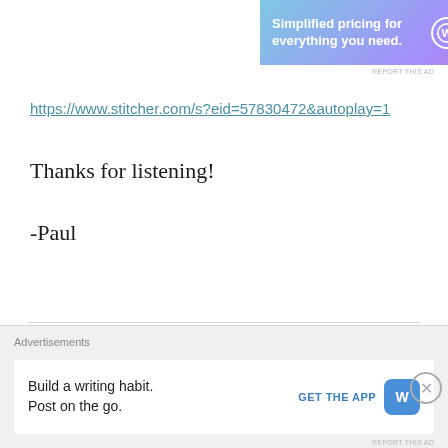[Figure (screenshot): WordPress.com advertisement banner with gradient blue-purple-pink background showing 'Simplified pricing for everything you need.' and WordPress.com logo]
REPORT THIS AD
https://www.stitcher.com/s?eid=57830472&autoplay=1
Thanks for listening!
-Paul
CATEGORIES  MOVIES, PODCASTS, THE WORLD'S BEST PODCAST, TRAILERS
TAGS  ARROWVERSE, BATWOMAN, CRISIS ON INFINITE EARTHS, ELSEWORLDS, FEATURED, GREEN ARROW, GREEN GOBLIN,
[Figure (screenshot): Bottom advertisement bar with WordPress.com app promotion: 'Build a writing habit. Post on the go.' with GET THE APP button and WordPress logo]